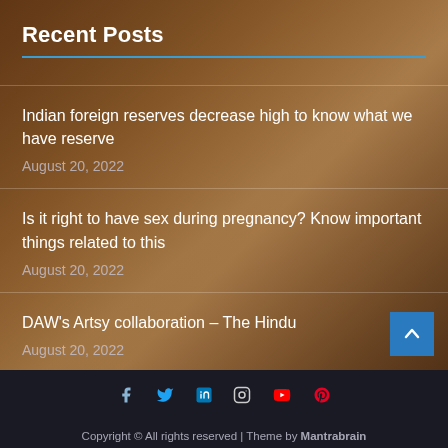Recent Posts
Indian foreign reserves decrease high to know what we have reserve
August 20, 2022
Is it right to have sex during pregnancy? Know important things related to this
August 20, 2022
DAW's Artsy collaboration – The Hindu
August 20, 2022
[Figure (illustration): Background photo of a woman with flowing hair overlaid with dark brownish-orange semi-transparent gradient]
Copyright © All rights reserved | Theme by Mantrabrain